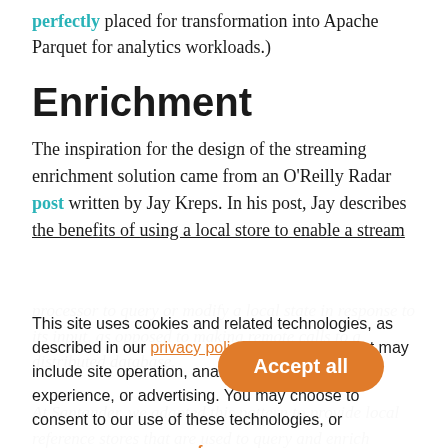perfectly placed for transformation into Apache Parquet for analytics workloads.)
Enrichment
The inspiration for the design of the streaming enrichment solution came from an O'Reilly Radar post written by Jay Kreps. In his post, Jay describes the benefits of using a local store to enable a stream
This site uses cookies and related technologies, as described in our privacy policy, for purposes that may include site operation, analytics, enhanced user experience, or advertising. You may choose to consent to our use of these technologies, or manage your own preferences.
Accept all